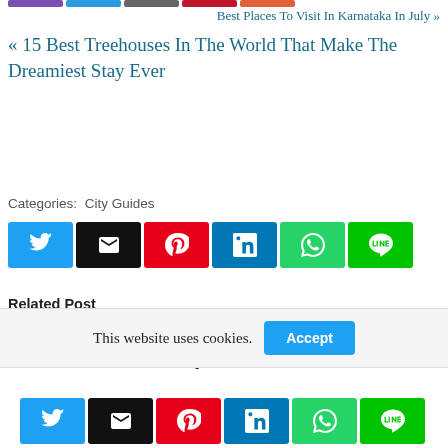Best Places To Visit In Karnataka In July »
« 15 Best Treehouses In The World That Make The Dreamiest Stay Ever
Categories:  City Guides
[Figure (infographic): Social share buttons row: Twitter (blue), Email (black), Pinterest (red), LinkedIn (blue), WhatsApp (green), LINE (green)]
Related Post
Most Beautiful Islands In Asia You Must Visit
Where To Go In February In Karnataka
This website uses cookies.
[Figure (infographic): Social share buttons bottom row: Twitter (blue), Email (black), Pinterest (red), LinkedIn (blue), WhatsApp (green), LINE (green)]